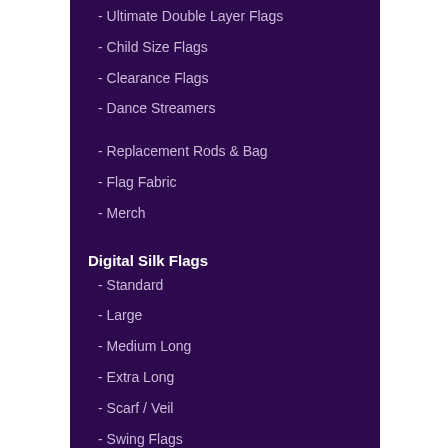- Ultimate Double Layer Flags
- Child Size Flags
- Clearance Flags
- Dance Streamers
- Replacement Rods & Bag
- Flag Fabric
- Merch
Digital Silk Flags
- Standard
- Large
- Medium Long
- Extra Long
- Scarf / Veil
- Swing Flags